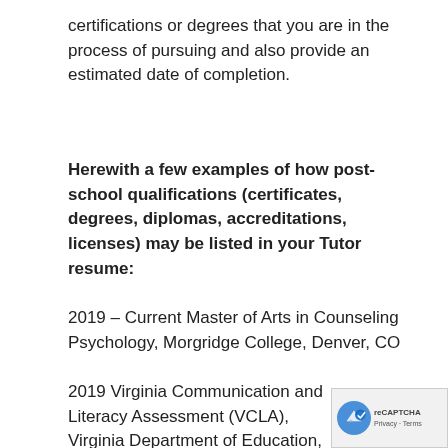certifications or degrees that you are in the process of pursuing and also provide an estimated date of completion.
Herewith a few examples of how post-school qualifications (certificates, degrees, diplomas, accreditations, licenses) may be listed in your Tutor resume:
2019 – Current Master of Arts in Counseling Psychology, Morgridge College, Denver, CO
2019 Virginia Communication and Literacy Assessment (VCLA), Virginia Department of Education, Amherst, MA